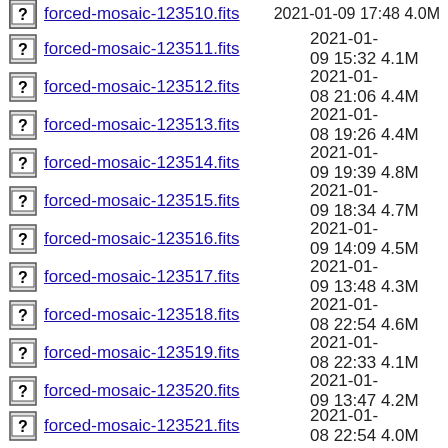forced-mosaic-123510.fits  2021-01-09 17:48  4.0M
forced-mosaic-123511.fits  2021-01-09 15:32  4.1M
forced-mosaic-123512.fits  2021-01-08 21:06  4.4M
forced-mosaic-123513.fits  2021-01-08 19:26  4.4M
forced-mosaic-123514.fits  2021-01-09 19:39  4.8M
forced-mosaic-123515.fits  2021-01-09 18:34  4.7M
forced-mosaic-123516.fits  2021-01-09 14:09  4.5M
forced-mosaic-123517.fits  2021-01-09 13:48  4.3M
forced-mosaic-123518.fits  2021-01-08 22:54  4.6M
forced-mosaic-123519.fits  2021-01-08 22:33  4.1M
forced-mosaic-123520.fits  2021-01-09 13:47  4.2M
forced-mosaic-123521.fits  2021-01-08 22:54  4.0M